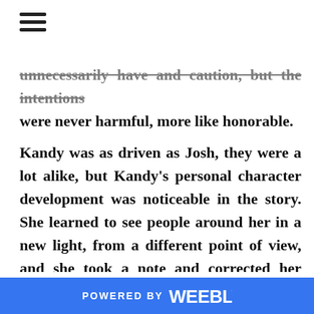≡ (hamburger menu icon)
unnecessarily have and caution, but the intentions were never harmful, more like honorable.
Kandy was as driven as Josh, they were a lot alike, but Kandy's personal character development was noticeable in the story. She learned to see people around her in a new light, from a different point of view, and she took a note and corrected her fierce and dominant actions.
Cooking With Kandy is an entertaining, fun, flirtatious story where family matters above anything else, where love hits you like a lightning and changes your life. There is danger, there are
POWERED BY weebly